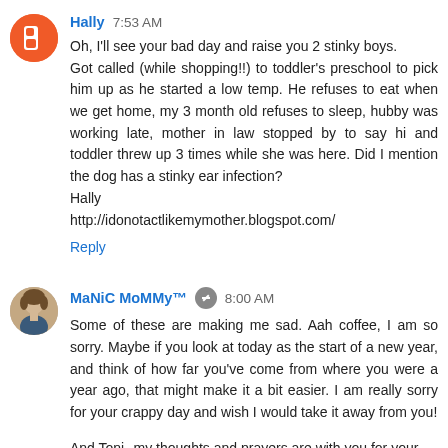Hally 7:53 AM
Oh, I'll see your bad day and raise you 2 stinky boys. Got called (while shopping!!) to toddler's preschool to pick him up as he started a low temp. He refuses to eat when we get home, my 3 month old refuses to sleep, hubby was working late, mother in law stopped by to say hi and toddler threw up 3 times while she was here. Did I mention the dog has a stinky ear infection?
Hally
http://idonotactlikemymother.blogspot.com/
Reply
MaNiC MoMMy™ 8:00 AM
Some of these are making me sad. Aah coffee, I am so sorry. Maybe if you look at today as the start of a new year, and think of how far you've come from where you were a year ago, that might make it a bit easier. I am really sorry for your crappy day and wish I would take it away from you!
And Toni--my thoughts and prayers are with you for your